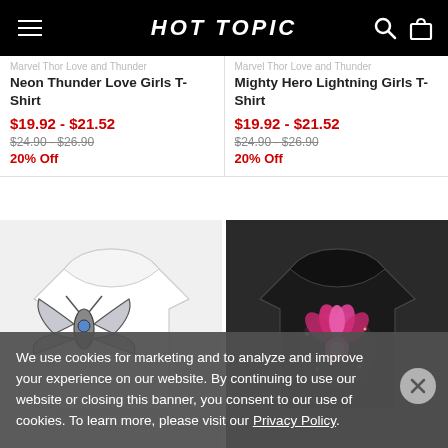HOT TOPIC
Marvel Thor Love and Thunder Neon Thunder Love Girls T-Shirt
$19.92 - $21.52
$24.90 - $26.90
20% Off
Marvel Thor Love and Thunder Mighty Hero Lightning Girls T-Shirt
$19.92 - $21.52
$24.90 - $26.90
20% Off
[Figure (photo): White girls t-shirt with silver wing/beetle graphic design]
[Figure (photo): Black girls t-shirt with pink lotus/floral graphic design]
We use cookies for marketing and to analyze and improve your experience on our website. By continuing to use our website or closing this banner, you consent to our use of cookies. To learn more, please visit our Privacy Policy.